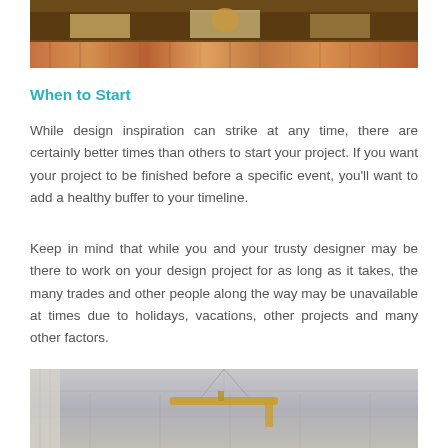[Figure (photo): Interior design photo showing a wooden media console/shelf unit with a colorful patterned rug underneath, viewed from an angle. The shelf has small decorative objects on it.]
When to Start
While design inspiration can strike at any time, there are certainly better times than others to start your project. If you want your project to be finished before a specific event, you’ll want to add a healthy buffer to your timeline.
Keep in mind that while you and your trusty designer may be there to work on your design project for as long as it takes, the many trades and other people along the way may be unavailable at times due to holidays, vacations, other projects and many other factors.
[Figure (photo): Interior design photo showing a room with gray paneled walls, white molding, curtains on the left, and a gold geometric pendant light fixture hanging from the ceiling.]